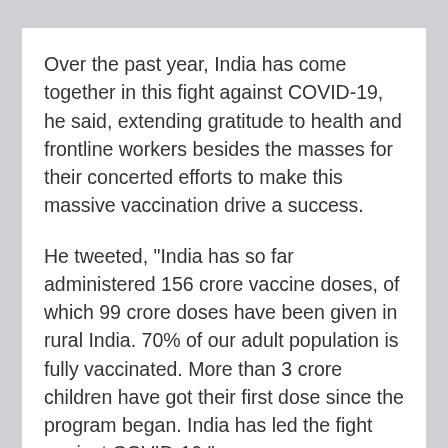Over the past year, India has come together in this fight against COVID-19, he said, extending gratitude to health and frontline workers besides the masses for their concerted efforts to make this massive vaccination drive a success.
He tweeted, "India has so far administered 156 crore vaccine doses, of which 99 crore doses have been given in rural India. 70% of our adult population is fully vaccinated. More than 3 crore children have got their first dose since the program began. India has led the fight against COVID-19."
The countrywide vaccination drive against COVID-19 on Sunday completed one year, during which over